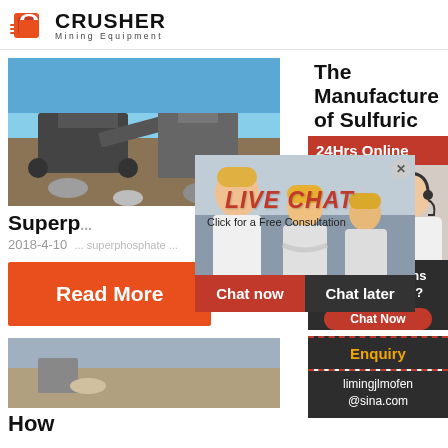CRUSHER Mining Equipment
[Figure (photo): Mining crusher machine outdoors with blue sky background]
Superp...
The Manufacture of Sulfuric...
2018-4-10
Read More
[Figure (photo): Live chat popup overlay with construction workers and customer service agent. Shows LIVE CHAT heading, Click for a Free Consultation, Chat now and Chat later buttons]
24Hrs Online
Need questions & suggestion?
Chat Now
Enquiry
limingjlmofen@sina.com
How